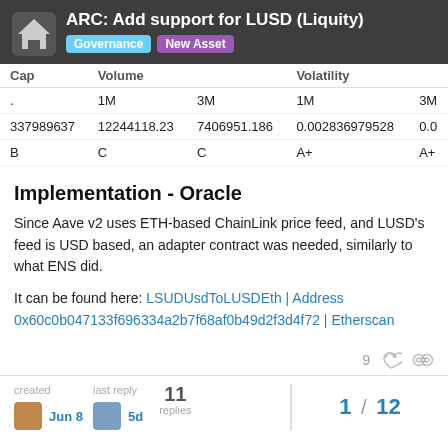ARC: Add support for LUSD (Liquity) | Governance | New Asset
| Cap | Volume |  | Volatility |  |
| --- | --- | --- | --- | --- |
| . | 1M | 3M | 1M | 3M |
| 337989637 | 12244118.23 | 7406951.186 | 0.002836979528 | 0.0... |
| B | C | C | A+ | A+ |
Implementation - Oracle
Since Aave v2 uses ETH-based ChainLink price feed, and LUSD's feed is USD based, an adapter contract was needed, similarly to what ENS did.
It can be found here: LSUDUsdToLUSDEth | Address 0x60c0b047133f696334a2b7f68af0b49d2f3d4f72 | Etherscan
created Jun 8 | last reply 5d | 11 replies | 1 / 12